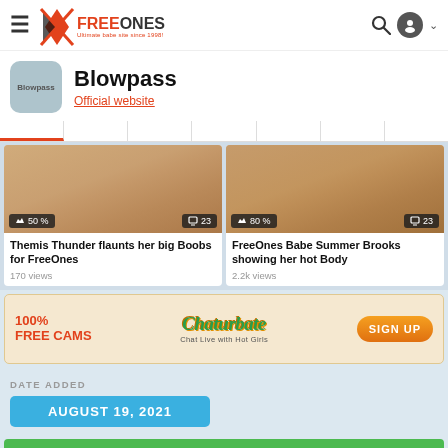FreeOnes - Ultimate babe site since 1998!
Blowpass
Official website
[Figure (photo): Thumbnail image with 50% rating and 23 photos badge - Themis Thunder flaunts her big Boobs for FreeOnes]
Themis Thunder flaunts her big Boobs for FreeOnes
170 views
[Figure (photo): Thumbnail image with 80% rating and 23 photos badge - FreeOnes Babe Summer Brooks showing her hot Body]
FreeOnes Babe Summer Brooks showing her hot Body
2.2k views
[Figure (infographic): Chaturbate advertisement: 100% FREE CAMS, Chat Live with Hot Girls, SIGN UP button]
DATE ADDED
AUGUST 19, 2021